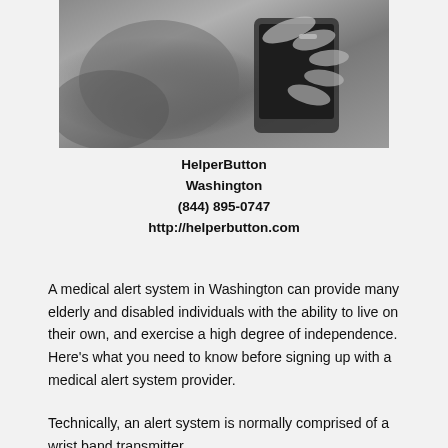[Figure (photo): Black and white photo of a hand holding a smartphone]
HelperButton
Washington
(844) 895-0747
http://helperbutton.com
A medical alert system in Washington can provide many elderly and disabled individuals with the ability to live on their own, and exercise a high degree of independence. Here's what you need to know before signing up with a medical alert system provider.
Technically, an alert system is normally comprised of a wrist band transmitter...